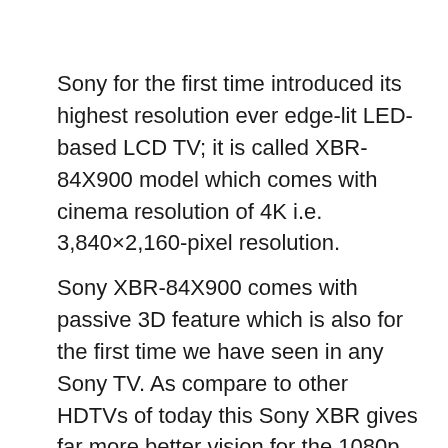Sony for the first time introduced its highest resolution ever edge-lit LED-based LCD TV; it is called XBR-84X900 model which comes with cinema resolution of 4K i.e. 3,840×2,160-pixel resolution.
Sony XBR-84X900 comes with passive 3D feature which is also for the first time we have seen in any Sony TV. As compare to other HDTVs of today this Sony XBR gives far more better vision for the 1080p video it just because of 4K support which are hardly found in HDTV.
After LG 84LM9600 (the 92-inch HDTV) it would be the second largest LCD TV from Sony that